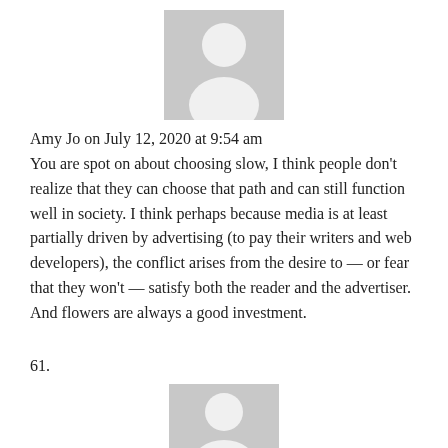[Figure (illustration): Gray placeholder avatar silhouette, top center of page]
Amy Jo on July 12, 2020 at 9:54 am
You are spot on about choosing slow, I think people don't realize that they can choose that path and can still function well in society. I think perhaps because media is at least partially driven by advertising (to pay their writers and web developers), the conflict arises from the desire to — or fear that they won't — satisfy both the reader and the advertiser.
And flowers are always a good investment.
61.
[Figure (illustration): Gray placeholder avatar silhouette, bottom center of page]